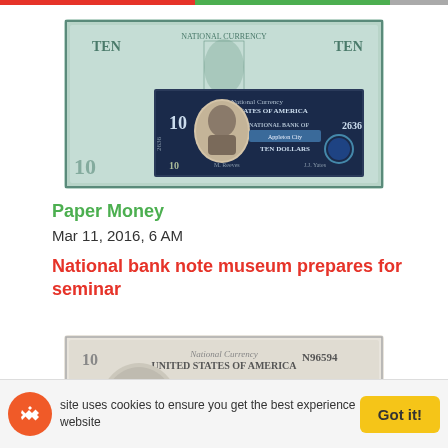[Figure (photo): Historical national currency bank note - $10 bill, First National Bank of Appleton City, charter number 2636]
Paper Money
Mar 11, 2016, 6 AM
National bank note museum prepares for seminar
[Figure (photo): Historical national currency bank note - $10 bill, Pingree National Bank, serial number N96594]
site uses cookies to ensure you get the best experience website